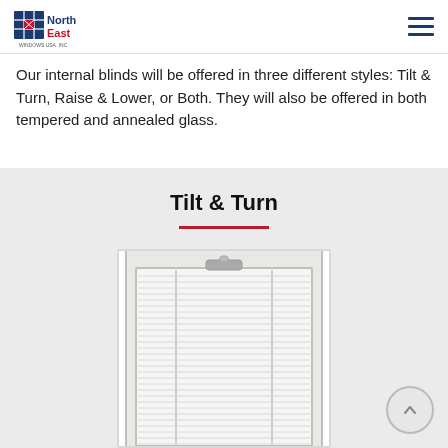NorthEast Windows USA, Inc. — navigation header
Our internal blinds will be offered in three different styles: Tilt & Turn, Raise & Lower, or Both. They will also be offered in both tempered and annealed glass.
Tilt & Turn
[Figure (photo): Photo of a window unit with internal venetian blinds, white frame, horizontal slats visible, and a tilt handle at the top center.]